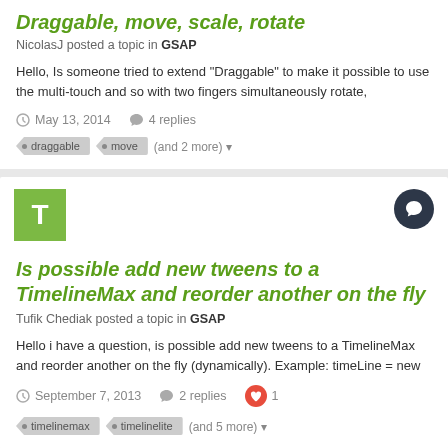Draggable, move, scale, rotate
NicolasJ posted a topic in GSAP
Hello, Is someone tried to extend "Draggable" to make it possible to use the multi-touch and so with two fingers simultaneously rotate,
May 13, 2014   4 replies
draggable
move
(and 2 more)
Is possible add new tweens to a TimelineMax and reorder another on the fly
Tufik Chediak posted a topic in GSAP
Hello i have a question, is possible add new tweens to a TimelineMax and reorder another on the fly (dynamically). Example: timeLine = new
September 7, 2013   2 replies   1
timelinemax
timelinelite
(and 5 more)